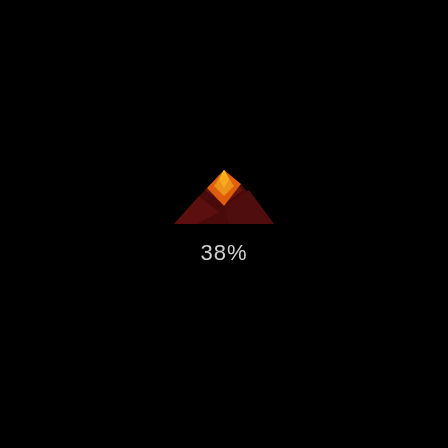[Figure (logo): A small mountain/volcano logo icon with dark red/maroon base mountains and a bright orange-yellow peak, glowing slightly, centered on a black background. Below it is a loading percentage text '38%'.]
38%